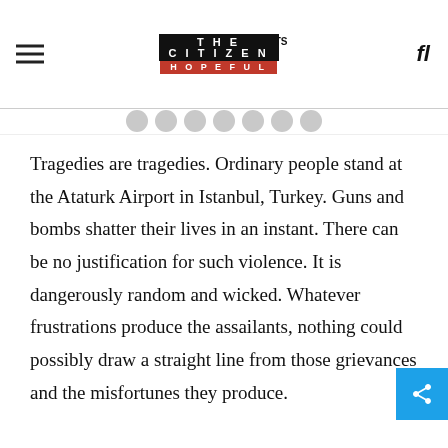THE CITIZEN IS HOPEFUL
Tragedies are tragedies. Ordinary people stand at the Ataturk Airport in Istanbul, Turkey. Guns and bombs shatter their lives in an instant. There can be no justification for such violence. It is dangerously random and wicked. Whatever frustrations produce the assailants, nothing could possibly draw a straight line from those grievances and the misfortunes they produce.
Each of these attacks comes with a list of names of the dead – casualty lists that multiply from one end of the planet to the other. Biographies of the dead will mount our Facebook pages and stand sentinel in newspapers. We